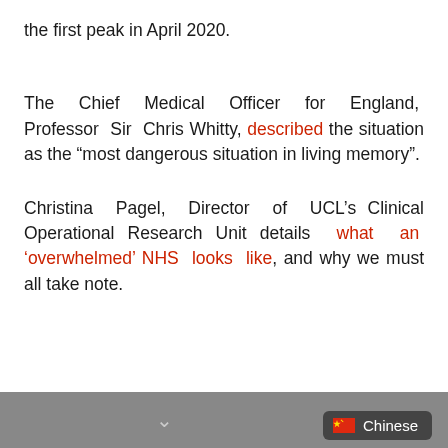the first peak in April 2020.
The Chief Medical Officer for England, Professor Sir Chris Whitty, described the situation as the “most dangerous situation in living memory”.
Christina Pagel, Director of UCL’s Clinical Operational Research Unit details what an ‘overwhelmed’ NHS looks like, and why we must all take note.
Chinese